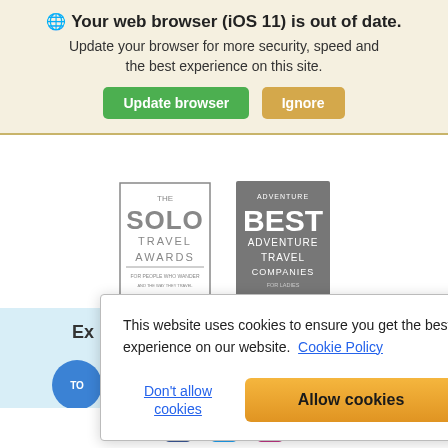🌐 Your web browser (iOS 11) is out of date. Update your browser for more security, speed and the best experience on this site.
Update browser
Ignore
[Figure (logo): The Solo Travel Awards logo (gray)]
[Figure (logo): Adventure Best Adventure Travel Companies logo (gray)]
Ex
TO
This website uses cookies to ensure you get the best experience on our website. Cookie Policy
Don't allow cookies
Allow cookies
[Figure (logo): Facebook, Twitter, Instagram social media icons at bottom]